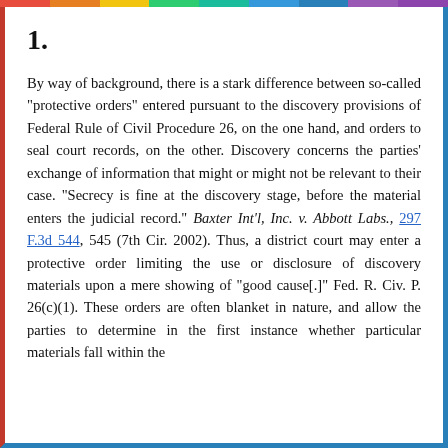1.
By way of background, there is a stark difference between so-called "protective orders" entered pursuant to the discovery provisions of Federal Rule of Civil Procedure 26, on the one hand, and orders to seal court records, on the other. Discovery concerns the parties' exchange of information that might or might not be relevant to their case. "Secrecy is fine at the discovery stage, before the material enters the judicial record." Baxter Int'l, Inc. v. Abbott Labs., 297 F.3d 544, 545 (7th Cir. 2002). Thus, a district court may enter a protective order limiting the use or disclosure of discovery materials upon a mere showing of "good cause[.]" Fed. R. Civ. P. 26(c)(1). These orders are often blanket in nature, and allow the parties to determine in the first instance whether particular materials fall within the